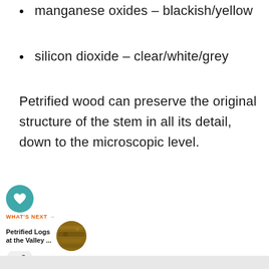manganese oxides – blackish/yellow
silicon dioxide – clear/white/grey
Petrified wood can preserve the original structure of the stem in all its detail, down to the microscopic level.
[Figure (other): Social interaction buttons: heart/like button (teal circle), count showing 1, and share button (grey circle with share icon)]
[Figure (other): What's Next card showing 'Petrified Logs at the Valley ...' with a thumbnail image of petrified wood]